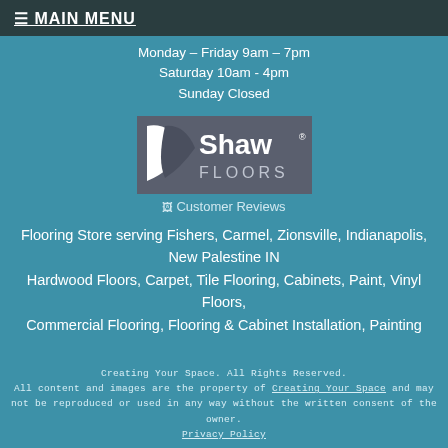≡ MAIN MENU
Monday – Friday 9am – 7pm
Saturday 10am - 4pm
Sunday Closed
[Figure (logo): Shaw Floors logo — dark grey background with white swoosh shape and 'Shaw FLOORS' text]
[Figure (other): Broken image placeholder labeled 'Customer Reviews']
Flooring Store serving Fishers, Carmel, Zionsville, Indianapolis, New Palestine IN
Hardwood Floors, Carpet, Tile Flooring, Cabinets, Paint, Vinyl Floors, Commercial Flooring, Flooring & Cabinet Installation, Painting
Creating Your Space. All Rights Reserved.
All content and images are the property of Creating Your Space and may not be reproduced or used in any way without the written consent of the owner.
Privacy Policy